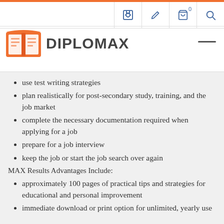DIPLOMAX — website header with navigation icons
use test writing strategies
plan realistically for post-secondary study, training, and the job market
complete the necessary documentation required when applying for a job
prepare for a job interview
keep the job or start the job search over again
MAX Results Advantages Include:
approximately 100 pages of practical tips and strategies for educational and personal improvement
immediate download or print option for unlimited, yearly use